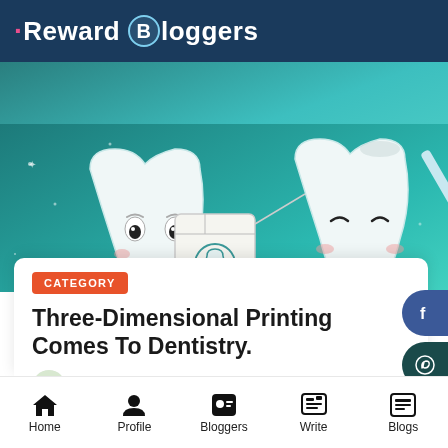Reward Bloggers
[Figure (illustration): Cartoon illustration of cute smiling tooth characters with dental floss box on a teal/green gradient background]
CATEGORY
Three-Dimensional Printing Comes To Dentistry.
ANIL CHAUDHRI - NA   AVG. READ: 8352 MIN
Home  Profile  Bloggers  Write  Blogs